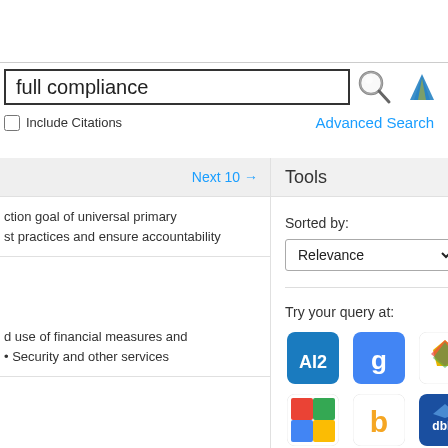[Figure (screenshot): Search interface with search box containing 'full compliance', magnifying glass icon, and logo icon]
Include Citations
Advanced Search
Next 10 →
ction goal of universal primary
st practices and ensure accountability
d use of financial measures and
• Security and other services
Tools
Sorted by:
Try your query at:
[Figure (logo): AI2 logo]
[Figure (logo): Google Scholar logo]
[Figure (logo): Colorful windmill/pinwheel logo]
[Figure (logo): Google Scholar green logo]
[Figure (logo): Bing logo]
[Figure (logo): DBLP logo]